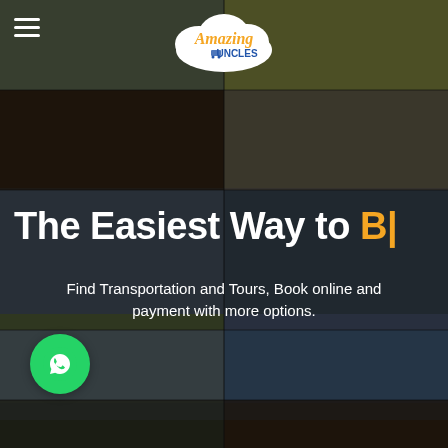[Figure (photo): Background photo collage of travel destinations including terraced rice fields, temples, mountain landscapes, and cultural scenes, with dark overlay]
[Figure (logo): Amazing Uncles logo — white cloud shape with yellow and orange script text 'Amazing' and blue bold text 'UNCLES' with a small van icon]
The Easiest Way to B|
Find Transportation and Tours, Book online and payment with more options.
[Figure (illustration): Green circular WhatsApp button with white phone/chat icon]